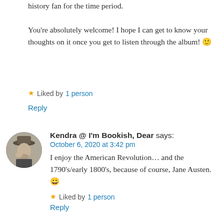history fan for the time period.

You're absolutely welcome! I hope I can get to know your thoughts on it once you get to listen through the album! 🙂
★ Liked by 1 person
Reply
[Figure (photo): Circular avatar photo of a person wearing a hat, black and white style]
Kendra @ I'm Bookish, Dear says:
October 6, 2020 at 3:42 pm
I enjoy the American Revolution… and the 1790's/early 1800's, because of course, Jane Austen. 😀
★ Liked by 1 person
Reply